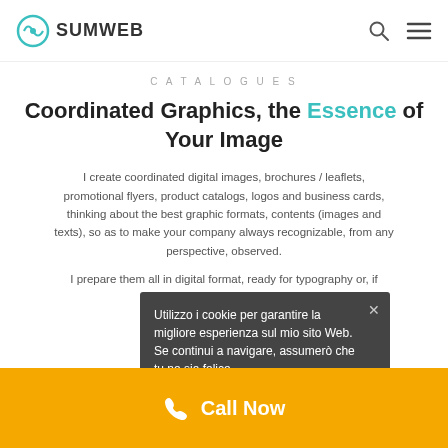SUMWEB (logo with search and menu icons)
CATALOGUES
Coordinated Graphics, the Essence of Your Image
I create coordinated digital images, brochures / leaflets, promotional flyers, product catalogs, logos and business cards, thinking about the best graphic formats, contents (images and texts), so as to make your company always recognizable, from any perspective, observed.
I prepare them all in digital format, ready for typography or, if you prefer, already printed.
Utilizzo i cookie per garantire la migliore esperienza sul mio sito Web. Se continui a navigare, assumerò che tu ne sia felice.
Call Now